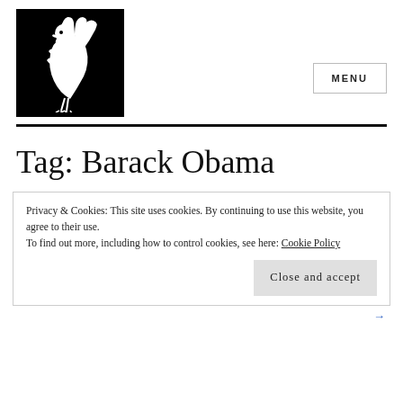[Figure (logo): Black square logo with a white rooster/cockerel silhouette graphic]
MENU
Tag: Barack Obama
Privacy & Cookies: This site uses cookies. By continuing to use this website, you agree to their use.
To find out more, including how to control cookies, see here: Cookie Policy
Close and accept